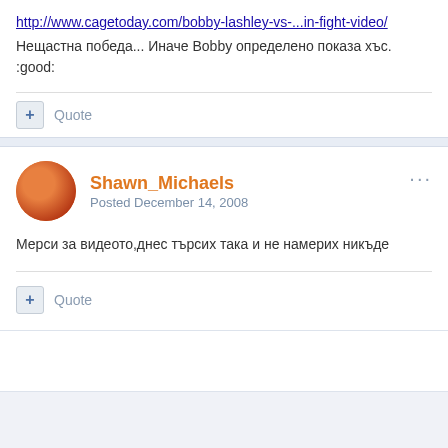http://www.cagetoday.com/bobby-lashley-vs-...in-fight-video/
Нещастна победа... Иначе Bobby определено показа хъс.
:good:
+ Quote
Shawn_Michaels
Posted December 14, 2008
Мерси за видеото,днес търсих така и не намерих никъде
+ Quote